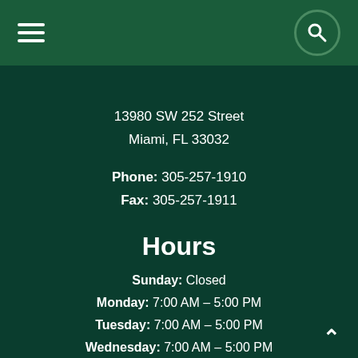Navigation header with hamburger menu and search button
13980 SW 252 Street
Miami, FL 33032
Phone: 305-257-1910
Fax: 305-257-1911
Hours
Sunday: Closed
Monday: 7:00 AM – 5:00 PM
Tuesday: 7:00 AM – 5:00 PM
Wednesday: 7:00 AM – 5:00 PM
Thursday: 7:00 AM – 5:00 PM
Friday: 7:00 AM – 4:30 PM